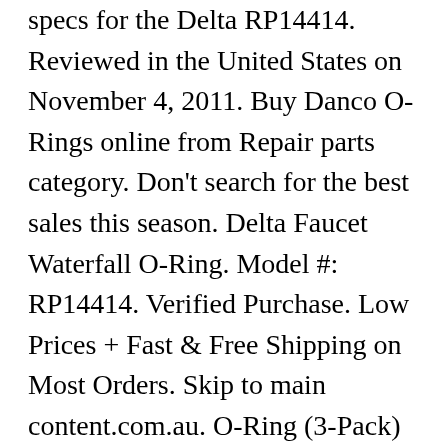specs for the Delta RP14414. Reviewed in the United States on November 4, 2011. Buy Danco O-Rings online from Repair parts category. Don't search for the best sales this season. Delta Faucet Waterfall O-Ring. Model #: RP14414. Verified Purchase. Low Prices + Fast & Free Shipping on Most Orders. Skip to main content.com.au. O-Ring (3-Pack) (6) Model# RP2055 $ 5 40. O-Ring. SKU: RP14414... ... Delta Faucet RP14414 13/14 Series O-Rings, 2-Pack. Buy a Delta Faucet O-Ring [RP22934] for your Delta Faucet Plumbing - This is sold as a set of two o-rings. Free shipping for many products! Author: packy (MA) can't answer since we don't know the size of the hardware store. Reviewed in the United States on November 4, 2011. Try.